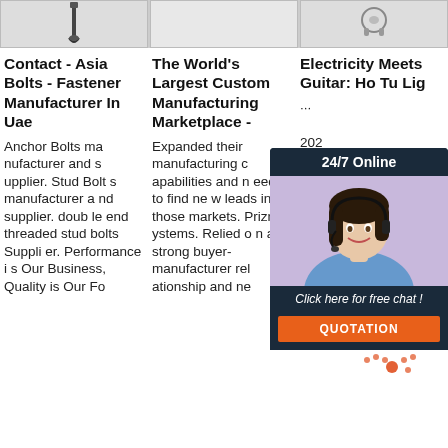[Figure (photo): Three product images in a horizontal strip at top: left shows a dark bolt/screw, center shows a plain light background, right shows a small headphone/earphone component]
Contact - Asia Bolts - Fastener Manufacturer In Uae
Anchor Bolts manufacturer and supplier. Stud Bolts manufacturer and supplier. double end threaded stud bolts Supplier. Performance is Our Business, Quality is Our Fo
The World's Largest Custom Manufacturing Marketplace -
Expanded their manufacturing capabilities and needed to find new leads in those markets. Prizm Systems. Relied on a strong buyer-manufacturer relationship and ne
Electricity Meets Guitar: Ho Tu Lig
··· 202 200 ing pre waveform of the guitar into a destructive sound wave, they created a new genre of
[Figure (screenshot): Live chat widget overlay showing '24/7 Online' header, photo of smiling female agent with headset, 'Click here for free chat!' text, and orange QUOTATION button]